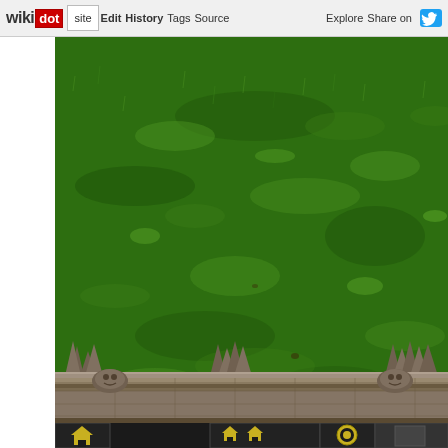wikidot | site Edit History Tags Source Explore Share on Twitter
[Figure (screenshot): Screenshot of a video game showing a green grass terrain with a stone/ornate wall structure at the bottom and a game UI toolbar with building icons visible at the very bottom. The terrain is lush green textured grass viewed from an isometric top-down perspective. At the bottom of the view, ornate stone wall borders are visible with decorative spikes. The game HUD shows small yellow building/house icons and a circular icon at the very bottom edge.]